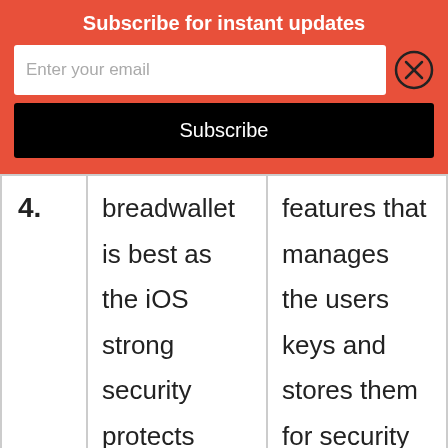Subscribe for instant updates
Enter your email
Subscribe
| 4. | breadwallet is best as the iOS strong security protects from viruses, black | features that manages the users keys and stores them for security |
[Figure (infographic): CVS Pharmacy advertisement: Shop In-Store Or Online, CVS logo, navigation arrow icon]
Shop In-Store Or Online
CVS